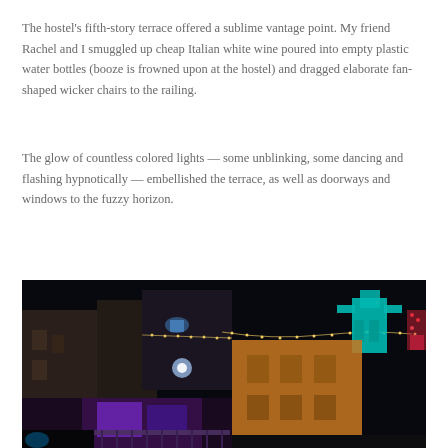The hostel's fifth-story terrace offered a sublime vantage point. My friend Rachel and I smuggled up cheap Italian white wine poured into empty plastic water bottles (booze is frowned upon at the hostel) and dragged elaborate fan-shaped wicker chairs to the railing.
The glow of countless colored lights — some unblinking, some dancing and flashing hypnotically — embellished the terrace, as well as doorways and windows to the fuzzy horizon.
[Figure (photo): Night-time photograph of a city rooftop and street scene. Dark sky background with colorful string lights stretched across buildings. Yellow/orange building facades lit up. Teal/cyan decorative figure visible on the right side. Purple and blue neon lights illuminate storefronts and balconies below.]